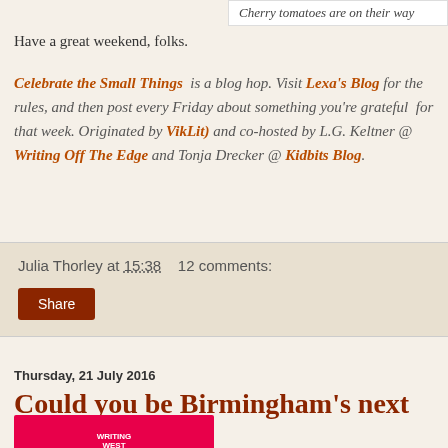Cherry tomatoes are on their way
Have a great weekend, folks.
Celebrate the Small Things is a blog hop. Visit Lexa's Blog for the rules, and then post every Friday about something you're grateful for that week. Originated by VikLit) and co-hosted by L.G. Keltner @ Writing Off The Edge and Tonja Drecker @ Kidbits Blog.
Julia Thorley at 15:38   12 comments:
Share
Thursday, 21 July 2016
Could you be Birmingham's next Poet Laureate?
[Figure (logo): Writing West Midlands logo — white outline of a map shape on a bright pink/red background]